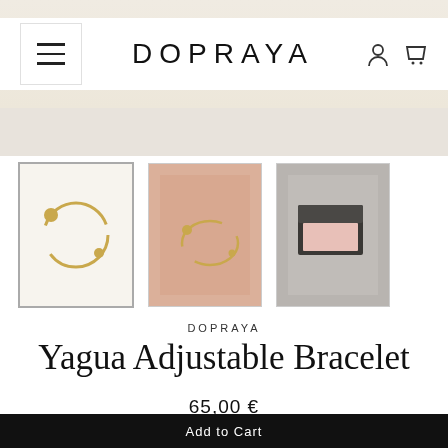DOPRAYA
[Figure (screenshot): E-commerce product page header with hamburger menu, DOPRAYA brand name, user icon and cart icon on a light background, with product image partially visible at top]
[Figure (photo): Three product thumbnails: first (selected, with border) shows gold adjustable bracelet on white background; second shows gold bracelet worn on wrist; third shows dark gray product box with pink interior]
DOPRAYA
Yagua Adjustable Bracelet
65,00 €
Add to Cart